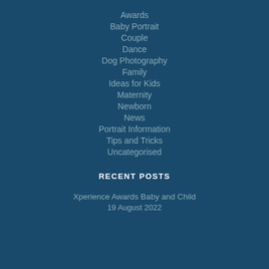Awards
Baby Portrait
Couple
Dance
Dog Photography
Family
Ideas for Kids
Maternity
Newborn
News
Portrait Information
Tips and Tricks
Uncategorised
RECENT POSTS
Xperience Awards Baby and Child
19 August 2022